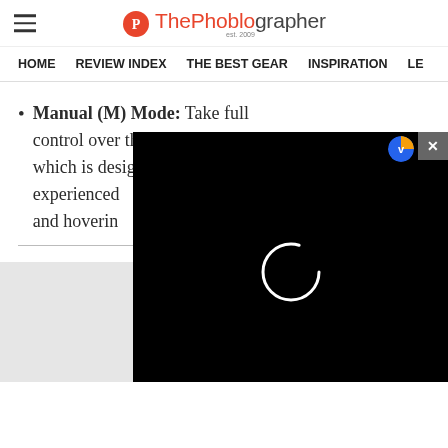ThePhoblographer
HOME | REVIEW INDEX | THE BEST GEAR | INSPIRATION | LE...
Manual (M) Mode: Take full control over the drone with M mode, which is designed for more experienced... and hoverin...
[Figure (screenshot): Black video player overlay with loading spinner circle in the center, close (x) button top right, and a blue/yellow V icon next to the close button.]